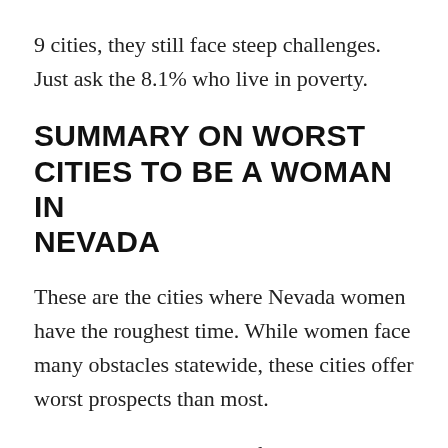9 cities, they still face steep challenges. Just ask the 8.1% who live in poverty.
SUMMARY ON WORST CITIES TO BE A WOMAN IN NEVADA
These are the cities where Nevada women have the roughest time. While women face many obstacles statewide, these cities offer worst prospects than most.
For example, while very few cities in this overall study had women making the same or more than